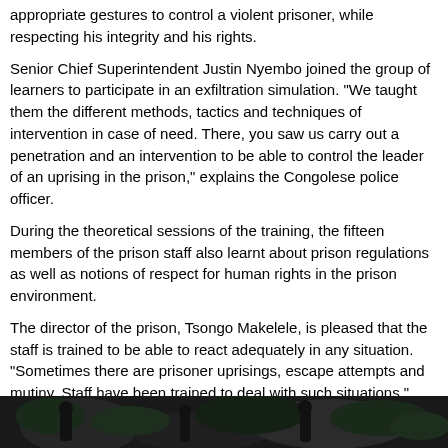appropriate gestures to control a violent prisoner, while respecting his integrity and his rights.
Senior Chief Superintendent Justin Nyembo joined the group of learners to participate in an exfiltration simulation. "We taught them the different methods, tactics and techniques of intervention in case of need. There, you saw us carry out a penetration and an intervention to be able to control the leader of an uprising in the prison," explains the Congolese police officer.
During the theoretical sessions of the training, the fifteen members of the prison staff also learnt about prison regulations as well as notions of respect for human rights in the prison environment.
The director of the prison, Tsongo Makelele, is pleased that the staff is trained to be able to react adequately in any situation. "Sometimes there are prisoner uprisings, escape attempts and mutiny. Staff have been trained to deal with such situations," notes Tsongo Makelele.
Senior Deputy Commissioner Elysée Ekame, one of the four women who took part in the training, says that learning these techniques is "crucial". She is one of the police officers who provide security at the prison, which has many inmates considered dangerous.
[Figure (photo): Dark photograph of people, partially visible at bottom of page]